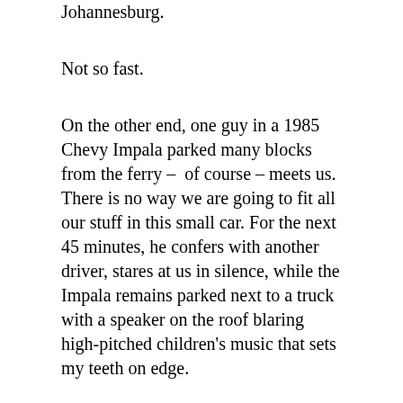Johannesburg.
Not so fast.
On the other end, one guy in a 1985 Chevy Impala parked many blocks from the ferry –  of course – meets us. There is no way we are going to fit all our stuff in this small car. For the next 45 minutes, he confers with another driver, stares at us in silence, while the Impala remains parked next to a truck with a speaker on the roof blaring high-pitched children's music that sets my teeth on edge.
It is finally determined that for $5 more we can use a van. Awesome. We load our stuff and head to the hotel as the sun sets.
We drive through increasingly dangerous neighborhoods. The pavement gives way to bumpy dirt roads, electricity becomes scarce, shoeless people roam